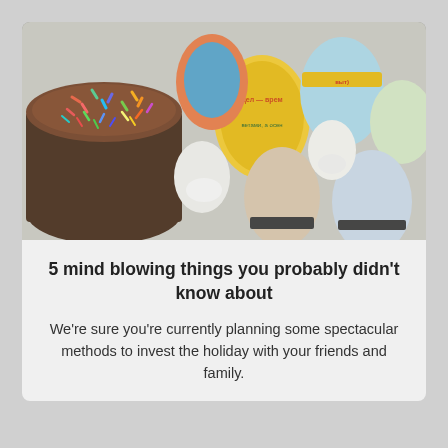[Figure (photo): Colorful decorated Easter eggs and a sprinkle-covered Easter cake (kulich) on a white cloth background. The eggs have intricate Russian-style illustrations and text.]
5 mind blowing things you probably didn't know about
We're sure you're currently planning some spectacular methods to invest the holiday with your friends and family.